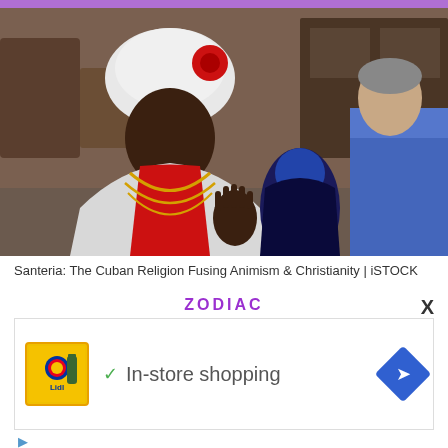[Figure (photo): Two people in traditional Santeria religious attire seated and conversing. The person on the left wears a white headwrap with red flower, white ruffled top, red sash, and gold beaded necklaces. A person in blue is visible on the right. A third figure in blue and black is partially visible in the background.]
Santeria: The Cuban Religion Fusing Animism & Christianity | iSTOCK
ZODIAC
[Figure (screenshot): Advertisement banner showing Lidl store logo on yellow background with a green checkmark and text 'In-store shopping' and a blue diamond navigation arrow icon on the right.]